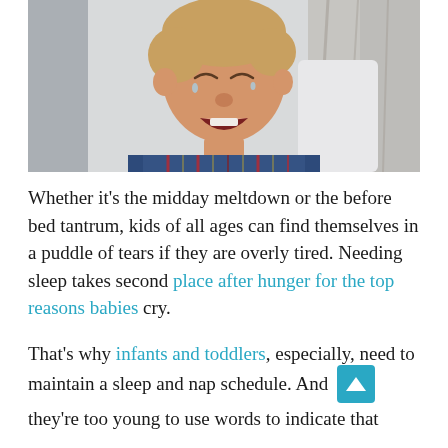[Figure (photo): A crying toddler boy with blonde hair wearing a plaid flannel shirt, mouth open mid-cry, photographed indoors near a window with blurred background curtains and trees.]
Whether it's the midday meltdown or the before bed tantrum, kids of all ages can find themselves in a puddle of tears if they are overly tired. Needing sleep takes second place after hunger for the top reasons babies cry.
That's why infants and toddlers, especially, need to maintain a sleep and nap schedule. And they're too young to use words to indicate that